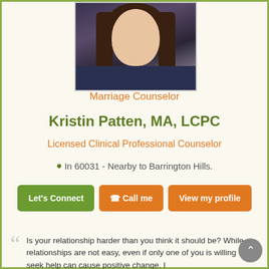[Figure (photo): Profile photo of Kristin Patten, a woman with dark hair, wearing a dark patterned top and pearl necklace, smiling at the camera]
Marriage Counselor
Kristin Patten, MA, LCPC
Licensed Clinical Professional Counselor
In 60031 - Nearby to Barrington Hills.
Let's Connect | Call me | View my profile
Is your relationship harder than you think it should be? While relationships are not easy, even if only one of you is willing to seek help can cause positive change. I